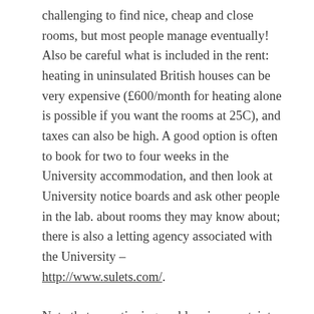challenging to find nice, cheap and close rooms, but most people manage eventually! Also be careful what is included in the rent: heating in uninsulated British houses can be very expensive (£600/month for heating alone is possible if you want the rooms at 25C), and taxes can also be high. A good option is often to book for two to four weeks in the University accommodation, and then look at University notice boards and ask other people in the lab. about rooms they may know about; there is also a letting agency associated with the University – http://www.sulets.com/.
Note that a continuing problem is uncertainty about exact arrival date because of visa or travel delay issues. This makes it impossible to book accommodation long in advance, and there is no continuation guarantee that...